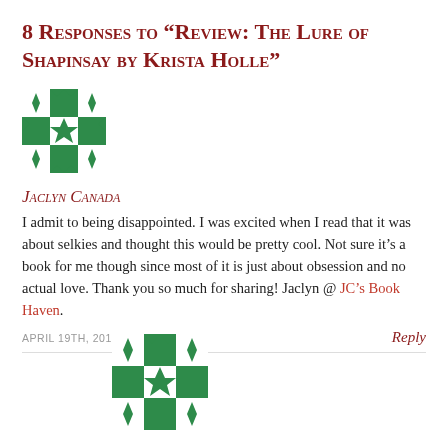8 Responses to “Review: The Lure of Shapinsay by Krista Holle”
[Figure (illustration): Green and white geometric snowflake/star pattern avatar icon for commenter Jaclyn Canada]
Jaclyn Canada
I admit to being disappointed. I was excited when I read that it was about selkies and thought this would be pretty cool. Not sure it’s a book for me though since most of it is just about obsession and no actual love. Thank you so much for sharing! Jaclyn @ JC’s Book Haven.
APRIL 19TH, 2013
Reply
[Figure (illustration): Green and white geometric snowflake/star pattern avatar icon for second commenter]